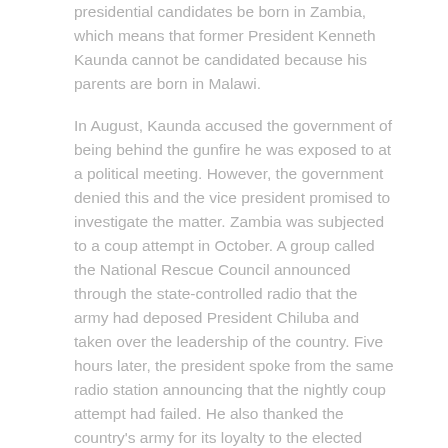presidential candidates be born in Zambia, which means that former President Kenneth Kaunda cannot be candidated because his parents are born in Malawi.
In August, Kaunda accused the government of being behind the gunfire he was exposed to at a political meeting. However, the government denied this and the vice president promised to investigate the matter. Zambia was subjected to a coup attempt in October. A group called the National Rescue Council announced through the state-controlled radio that the army had deposed President Chiluba and taken over the leadership of the country. Five hours later, the president spoke from the same radio station announcing that the nightly coup attempt had failed. He also thanked the country's army for its loyalty to the elected government. President Chiluba immediately freed the opposition from involvement in the coup attempt despite the fact that a week earlier Kaunda had predicted that the country was close to a political explosion.
Exception laws were introduced throughout the country after the coup attempt and the police were given unlimited powers to arrest suspects. A few days after the coup, opposition politician Dean Mung'omba, Zambia Democratic Congress (ZADECO) was arrested. Amnesty International appealed to